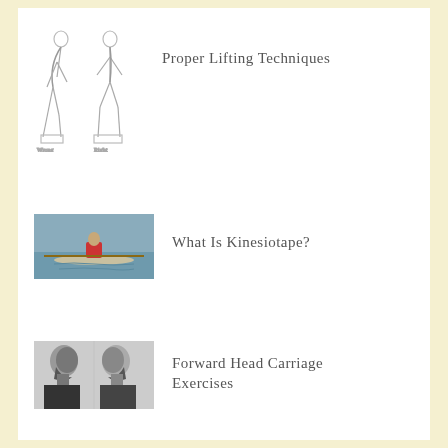[Figure (illustration): Line drawing of human figures demonstrating proper lifting techniques - posture diagrams]
Proper Lifting Techniques
[Figure (photo): Photo of a rower in a single scull on water]
What Is Kinesiotape?
[Figure (photo): Black and white photo of two bearded men in profile showing head position]
Forward Head Carriage Exercises
[Figure (photo): Colorful photo of a plate with fruits and vegetables]
Eating A Colorful Plate